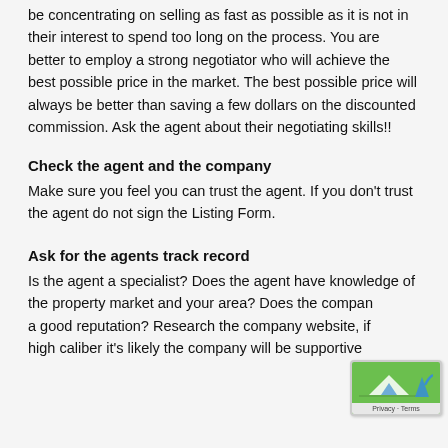be concentrating on selling as fast as possible as it is not in their interest to spend too long on the process. You are better to employ a strong negotiator who will achieve the best possible price in the market. The best possible price will always be better than saving a few dollars on the discounted commission. Ask the agent about their negotiating skills!!
Check the agent and the company
Make sure you feel you can trust the agent. If you don't trust the agent do not sign the Listing Form.
Ask for the agents track record
Is the agent a specialist? Does the agent have knowledge of the property market and your area? Does the company have a good reputation? Research the company website, if it's high caliber it's likely the company will be supportive of your needs when you are selling. Ask the agent if the agency has a